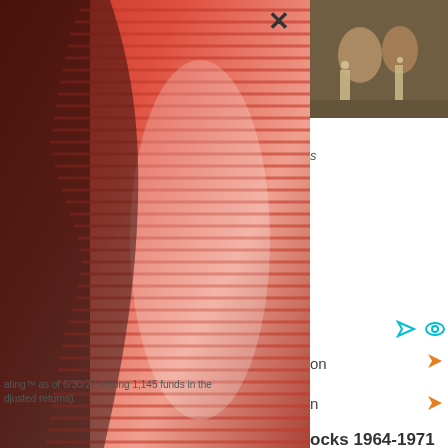[Figure (photo): Putnam Investments promotional page overlay showing abstract red and black silhouette face with layered red diagonal lines, covering the left portion of a browser window]
[Figure (photo): Small photo in upper right showing people at a restaurant or social gathering with candles and drinks]
on
n
ocks 1964-1971
early six
have released
ine No. 1
[Figure (logo): Putnam Investments logo with balance scale icon and 'Putnam INVESTMENTS' text]
ue Fund PEIYX
ating™ as of 6/30/22 among 1,145 funds in the djusted returns).